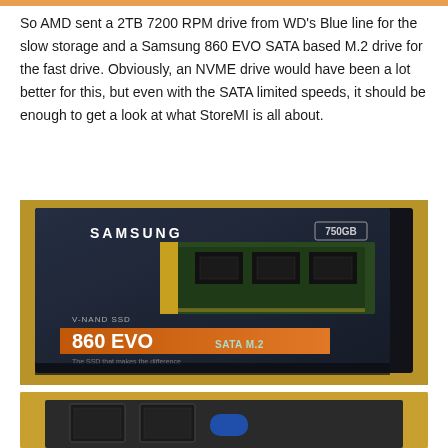So AMD sent a 2TB 7200 RPM drive from WD's Blue line for the slow storage and a Samsung 860 EVO SATA based M.2 drive for the fast drive. Obviously, an NVME drive would have been a lot better for this, but even with the SATA limited speeds, it should be enough to get a look at what StoreMI is all about.
[Figure (photo): Samsung 860 EVO SATA M.2 750GB SSD box on a wooden surface. Dark navy/charcoal box with Samsung branding, shows the M.2 circuit board, orange stripe with 860 EVO SATA M.2 text, V-NAND SSD label, and tagline 'The SSD that makes the difference'.]
[Figure (photo): Open cardboard box containing two dark hard drives or SSDs with a blue WD label visible.]